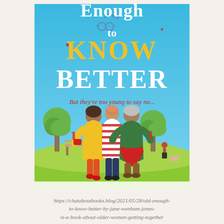[Figure (illustration): Book cover illustration for 'Old Enough to Know Better' showing three women with their backs turned, arms around each other, holding wine glasses in a park setting with trees and a bench. Title text reads 'Enough to Know Better' with 'KNOW' in yellow and 'BETTER' in white on a blue sky background. Subtitle reads 'But they're too young to say no...' in red italic text.]
https://chataboutbooks.blog/2021/05/28/old-enough-to-know-better-by-jane-wenham-jones-is-a-book-about-older-women-getting-together